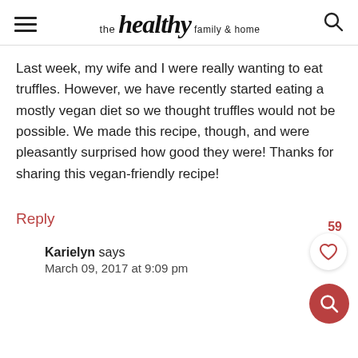the healthy family & home
Last week, my wife and I were really wanting to eat truffles. However, we have recently started eating a mostly vegan diet so we thought truffles would not be possible. We made this recipe, though, and were pleasantly surprised how good they were! Thanks for sharing this vegan-friendly recipe!
Reply
Karielyn says
March 09, 2017 at 9:09 pm